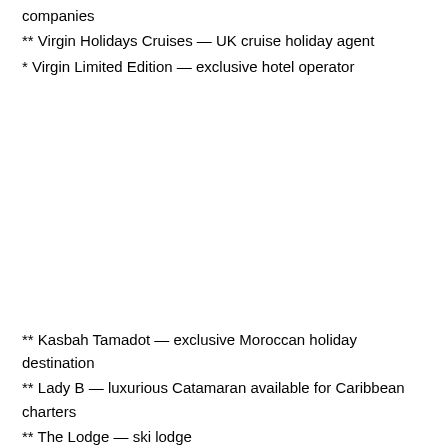companies
** Virgin Holidays Cruises — UK cruise holiday agent
* Virgin Limited Edition — exclusive hotel operator
** Kasbah Tamadot — exclusive Moroccan holiday destination
** Lady B — luxurious Catamaran available for Caribbean charters
** The Lodge — ski lodge